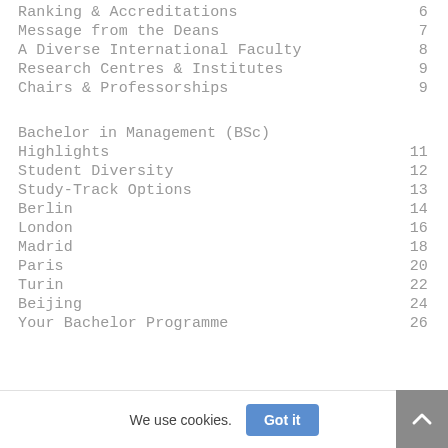Ranking & Accreditations   6
Message from the Deans   7
A Diverse International Faculty   8
Research Centres & Institutes   9
Chairs & Professorships   9
Bachelor in Management (BSc)
Highlights   11
Student Diversity   12
Study-Track Options   13
Berlin   14
London   16
Madrid   18
Paris   20
Turin   22
Beijing   24
Your Bachelor Programme   26